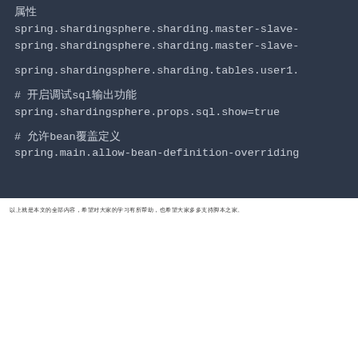[Figure (screenshot): Dark-themed code editor screenshot showing Spring ShardingSphere configuration properties in a monospace font on a dark background (#2d3748). Lines include spring.shardingsphere.sharding.master-slave- entries, spring.shardingsphere.sharding.tables.user1., a comment about sql show config, spring.shardingsphere.props.sql.show=true, a comment about bean definition, and spring.main.allow-bean-definition-overriding]
以上就是本文的全部内容，希望对大家的学习有所帮助，也希望大家多多支持脚本之家。